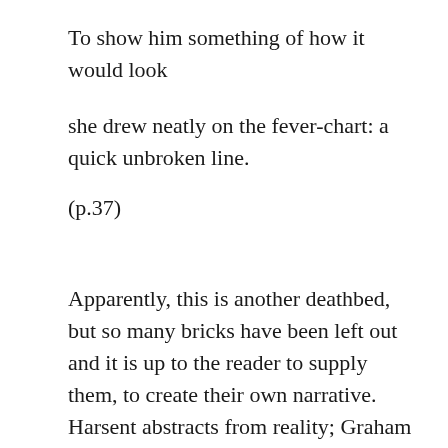To show him something of how it would look
she drew neatly on the fever-chart: a quick unbroken line.
(p.37)
Apparently, this is another deathbed, but so many bricks have been left out and it is up to the reader to supply them, to create their own narrative. Harsent abstracts from reality; Graham includes. Harsent is a third person writer; Graham belongs in the first person but both of them rely on the process of metaphor